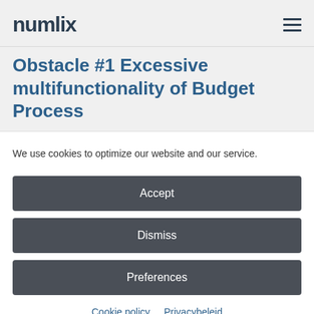numlix
Obstacle #1 Excessive multifunctionality of Budget Process
We use cookies to optimize our website and our service.
Accept
Dismiss
Preferences
Cookie policy   Privacybeleid